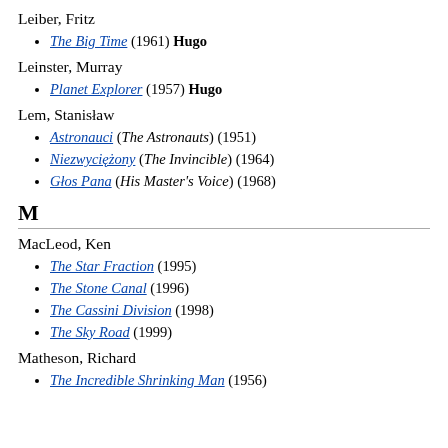Leiber, Fritz
The Big Time (1961) Hugo
Leinster, Murray
Planet Explorer (1957) Hugo
Lem, Stanisław
Astronauci (The Astronauts) (1951)
Niezwyciężony (The Invincible) (1964)
Głos Pana (His Master's Voice) (1968)
M
MacLeod, Ken
The Star Fraction (1995)
The Stone Canal (1996)
The Cassini Division (1998)
The Sky Road (1999)
Matheson, Richard
The Incredible Shrinking Man (1956)